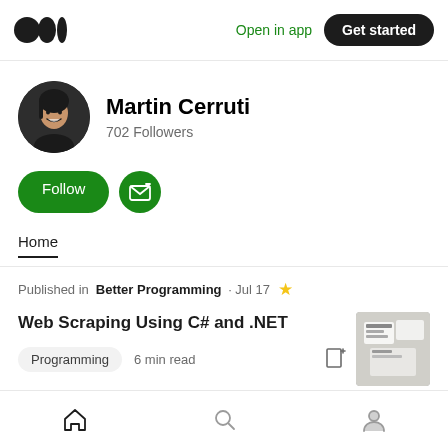Medium logo | Open in app | Get started
[Figure (photo): Martin Cerruti profile photo - circular avatar of a smiling young man with dark hair]
Martin Cerruti
702 Followers
Follow | Subscribe button
Home
Published in Better Programming · Jul 17 ★
Web Scraping Using C# and .NET
Programming  6 min read
Home | Search | Profile